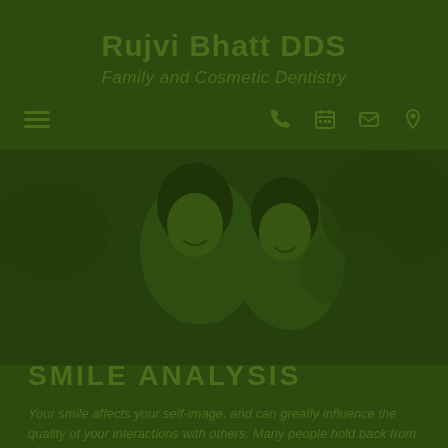Rujvi Bhatt DDS
Family and Cosmetic Dentistry
[Figure (photo): A smiling couple outdoors, seen through a green-tinted overlay. The photo shows a man and woman smiling together with greenery in the background.]
SMILE ANALYSIS
Your smile affects your self-image, and can greatly influence the quality of your interactions with others. Many people hold back from laughing or smiling because they are uncomfortable with...